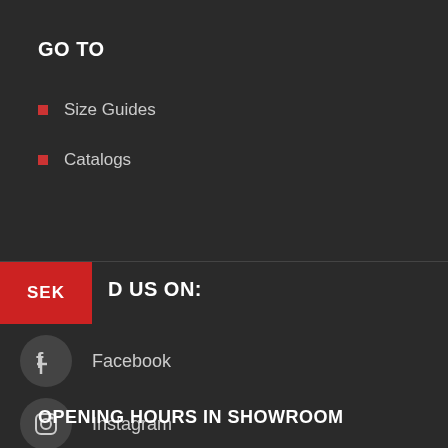GO TO
Size Guides
Catalogs
FOLLOW US ON:
Facebook
Instagram
OPENING HOURS IN SHOWROOM